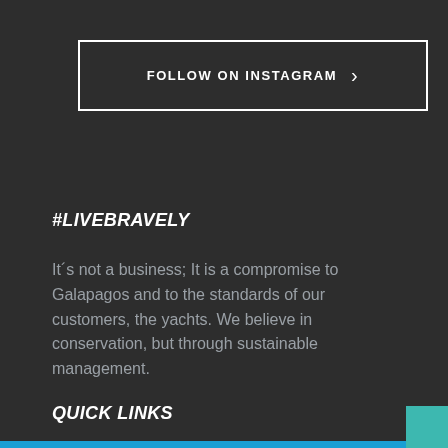FOLLOW ON INSTAGRAM >
#LIVEBRAVELY
It´s not a business; It is a compromise to Galapagos and to the standards of our customers, the yachts. We believe in conservation, but through sustainable management.
QUICK LINKS